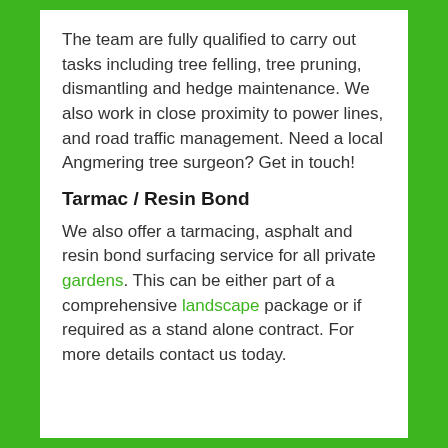The team are fully qualified to carry out tasks including tree felling, tree pruning, dismantling and hedge maintenance. We also work in close proximity to power lines, and road traffic management. Need a local Angmering tree surgeon? Get in touch!
Tarmac / Resin Bond
We also offer a tarmacing, asphalt and resin bond surfacing service for all private gardens. This can be either part of a comprehensive landscape package or if required as a stand alone contract. For more details contact us today.